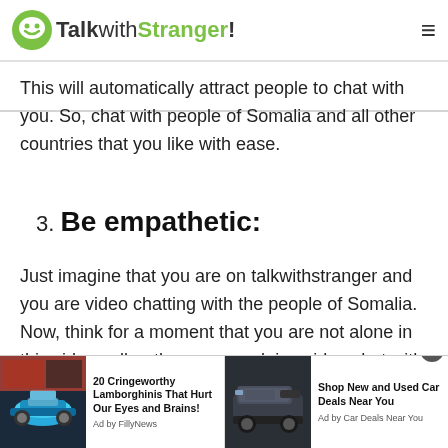TalkwithStranger!
This will automatically attract people to chat with you. So, chat with people of Somalia and all other countries that you like with ease.
3. Be empathetic:
Just imagine that you are on talkwithstranger and you are video chatting with the people of Somalia. Now, think for a moment that you are not alone in this video call, rather you are doing video chat with random people of Somalia. When you chat with people of Somalia and one of the participants of the
[Figure (screenshot): Advertisement bar at bottom showing two ads: '20 Cringeworthy Lamborghinis That Hurt Our Eyes and Brains!' by FillyNews with car image, and 'Shop New and Used Car Deals Near You' by Car Deals Near You with SUV image. Close button (x) visible.]